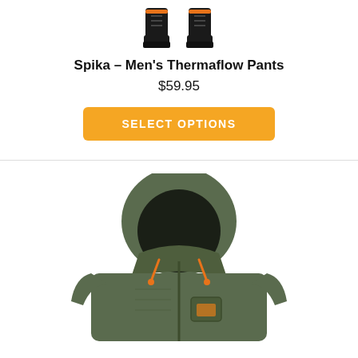[Figure (photo): Partial view of Spika Men's Thermaflow Pants — boots/feet area visible at top of card, black with orange accents]
Spika – Men's Thermaflow Pants
$59.95
SELECT OPTIONS
[Figure (photo): Spika olive/khaki green hooded jacket with orange drawstring and chest pocket detail, hood up, no head visible]